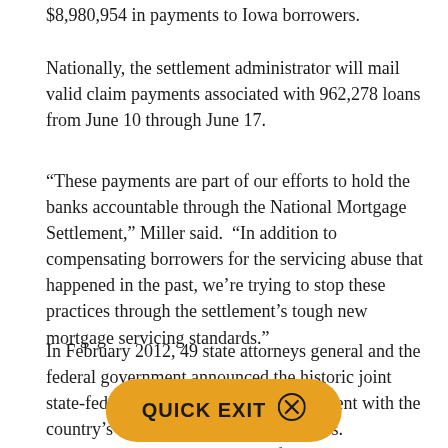$8,980,954 in payments to Iowa borrowers.
Nationally, the settlement administrator will mail valid claim payments associated with 962,278 loans from June 10 through June 17.
“These payments are part of our efforts to hold the banks accountable through the National Mortgage Settlement,” Miller said.  “In addition to compensating borrowers for the servicing abuse that happened in the past, we’re trying to stop these practices through the settlement’s tough new mortgage servicing standards.”
In February 2012, 49 state attorneys general and the federal government announced the historic joint state-federal National Mortgage Settlement with the country’s five largest mortgage servicers.  Preliminary data shows that, so far, the servicers have provided more than $50 billion in direct settlement relief to borrowers nationwide.
A relatively small number of borrowers will not receive a check in the initial mailing or will receive a different payment.